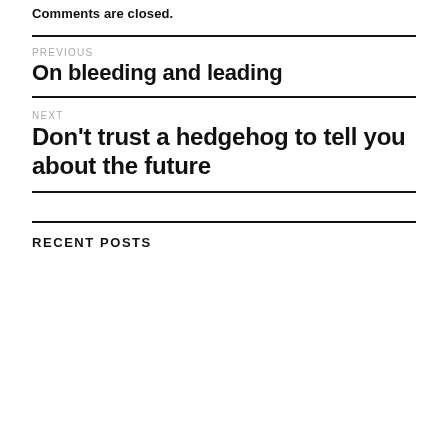Comments are closed.
PREVIOUS
On bleeding and leading
NEXT
Don't trust a hedgehog to tell you about the future
RECENT POSTS